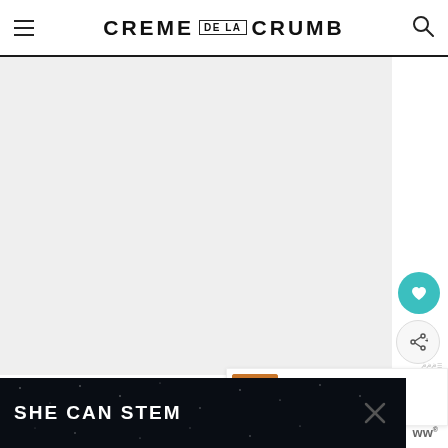CREME DE LA CRUMB
[Figure (photo): Large light gray image placeholder area occupying most of the page below the header]
[Figure (illustration): Teal circular favorite/heart button on right side]
[Figure (illustration): Light gray circular share button on right side]
[Figure (screenshot): What's Next card showing Sheet Pan Salmon thumbnail with teal label and text 'Sheet Pan Salmon and...']
P...
[Figure (screenshot): Dark advertisement banner reading SHE CAN STEM with close button and ww logo]